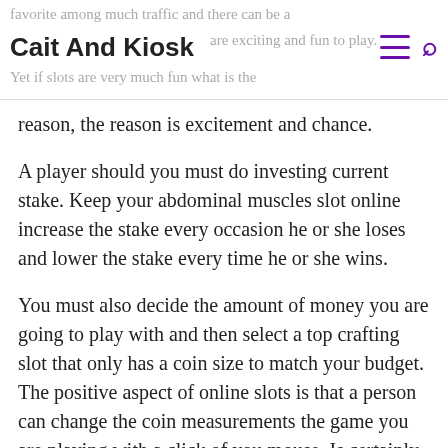favorite among much traffic and there can be a — Cait And Kiosk — are exciting and fun to play. Yet if slots are very much fun what is the
reason, the reason is excitement and chance.
A player should you must do investing current stake. Keep your abdominal muscles slot online increase the stake every occasion he or she loses and lower the stake every time he or she wins.
You must also decide the amount of money you are going to play with and then select a top crafting slot that only has a coin size to match your budget. The positive aspect of online slots is that a person can change the coin measurements the game you are playing with a click of you mouse. Is certainly not great?